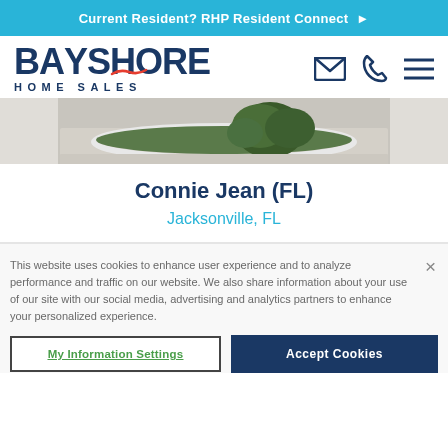Current Resident? RHP Resident Connect ▶
[Figure (logo): Bayshore Home Sales logo with navy blue text and red wave accent, plus email, phone, and menu icons]
[Figure (photo): Partial photo of a landscaped community area showing garden edging and shrubs]
Connie Jean (FL)
Jacksonville, FL
This website uses cookies to enhance user experience and to analyze performance and traffic on our website. We also share information about your use of our site with our social media, advertising and analytics partners to enhance your personalized experience.
My Information Settings
Accept Cookies